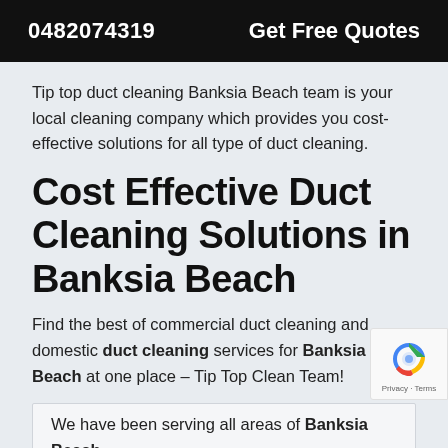0482074319   Get Free Quotes
Tip top duct cleaning Banksia Beach team is your local cleaning company which provides you cost-effective solutions for all type of duct cleaning.
Cost Effective Duct Cleaning Solutions in Banksia Beach
Find the best of commercial duct cleaning and domestic duct cleaning services for Banksia Beach at one place – Tip Top Clean Team!
We have been serving all areas of Banksia Beach